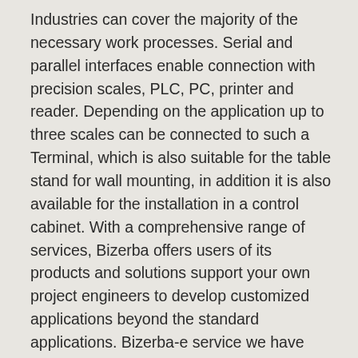Industries can cover the majority of the necessary work processes. Serial and parallel interfaces enable connection with precision scales, PLC, PC, printer and reader. Depending on the application up to three scales can be connected to such a Terminal, which is also suitable for the table stand for wall mounting, in addition it is also available for the installation in a control cabinet. With a comprehensive range of services, Bizerba offers users of its products and solutions support your own project engineers to develop customized applications beyond the standard applications. Bizerba-e service we have also the possibility to analyze problems of solutions provided by us at any time via remote diagnosis and remote maintenance, and to a large extent also directly cost – and time-saving way to fix", underlines Conzelmann low downtime of Bizerba systems during outages.